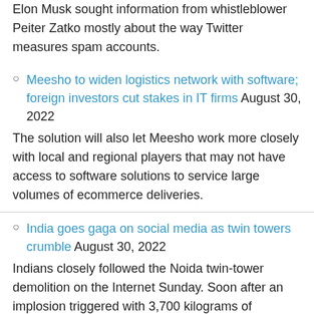Elon Musk sought information from whistleblower Peiter Zatko mostly about the way Twitter measures spam accounts.
Meesho to widen logistics network with software; foreign investors cut stakes in IT firms August 30, 2022
The solution will also let Meesho work more closely with local and regional players that may not have access to software solutions to service large volumes of ecommerce deliveries.
India goes gaga on social media as twin towers crumble August 30, 2022
Indians closely followed the Noida twin-tower demolition on the Internet Sunday. Soon after an implosion triggered with 3,700 kilograms of explosives brought the towers to ground in the afternoon, feeds on WhatsApp, Twitter, Facebook and